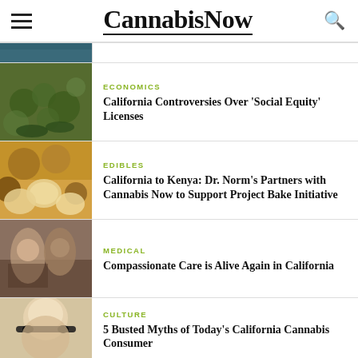CannabisNow
[Figure (photo): Partial top image of cannabis plants or outdoor scene]
ECONOMICS
California Controversies Over 'Social Equity' Licenses
[Figure (photo): Photo of cannabis plants in small pots]
EDIBLES
California to Kenya: Dr. Norm's Partners with Cannabis Now to Support Project Bake Initiative
[Figure (photo): Photo of edibles including cookies and pecans]
MEDICAL
Compassionate Care is Alive Again in California
[Figure (photo): Photo of people in a cannabis dispensary]
CULTURE
5 Busted Myths of Today's California Cannabis Consumer
[Figure (photo): Photo of a woman wearing sunglasses]